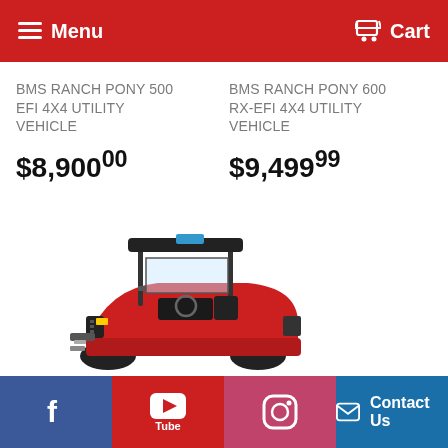Menu  Cart
BMS RANCH PONY 500 EFI 4X4 UTILITY VEHICLE
$8,900.00
BMS RANCH PONY 600 RX-EFI 4X4 UTILITY VEHICLE
$9,499.99
[Figure (photo): Red BMS Ranch Pony utility vehicle (UTV/side-by-side) with roll cage, windshield, and roof, photographed from front-left angle]
Facebook  YouTube  Instagram  Contact Us